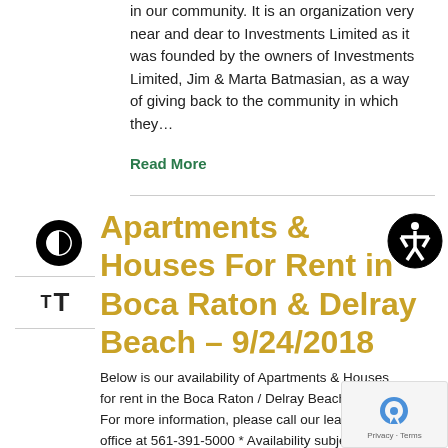in our community.  It is an organization very near and dear to Investments Limited as it was founded by the owners of Investments Limited, Jim & Marta Batmasian, as a way of giving back to the community in which they…
Read More
Apartments & Houses For Rent in Boca Raton & Delray Beach – 9/24/2018
Below is our availability of Apartments & Houses for rent in the Boca Raton / Delray Beach area.  For more information, please call our leasing office at 561-391-5000 * Availability subject to change